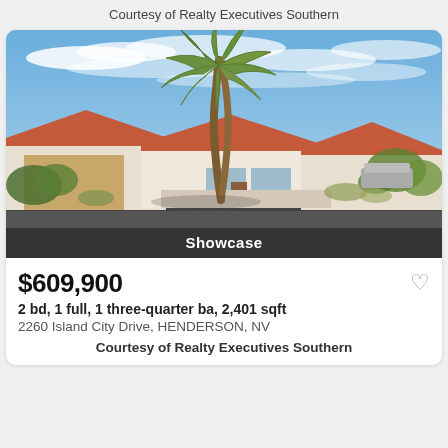Courtesy of Realty Executives Southern
[Figure (photo): Exterior photo of a single-story home with a large palm tree in the front yard, red tile roof, attached garage, desert landscaping, and blue sky with scattered clouds. A 'Showcase' label is overlaid at the bottom.]
$609,900
2 bd, 1 full, 1 three-quarter ba, 2,401 sqft
2260 Island City Drive, HENDERSON, NV
Courtesy of Realty Executives Southern